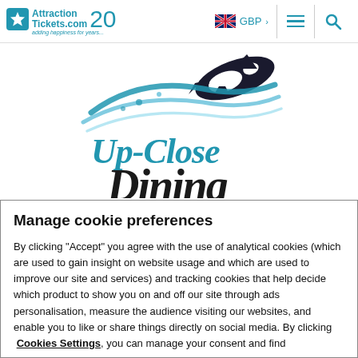AttractionTickets.com 20 years — GBP > [menu] [search]
[Figure (logo): Up-Close Dining logo with orca whale jumping over blue script text]
Manage cookie preferences
By clicking "Accept" you agree with the use of analytical cookies (which are used to gain insight on website usage and which are used to improve our site and services) and tracking cookies that help decide which product to show you on and off our site through ads personalisation, measure the audience visiting our websites, and enable you to like or share things directly on social media. By clicking Cookies Settings, you can manage your consent and find